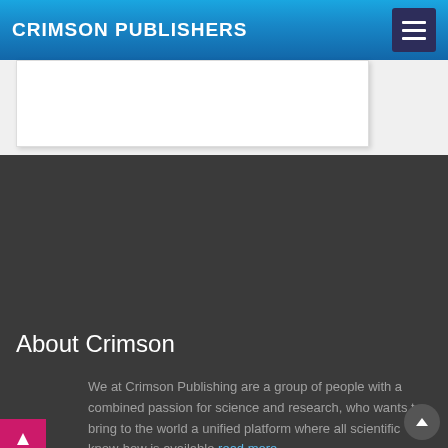CRIMSON PUBLISHERS
[Figure (screenshot): White card area with purple bar top, part of a web page layout]
About Crimson
We at Crimson Publishing are a group of people with a combined passion for science and research, who wants to bring to the world a unified platform where all scientific know-how is available read more...
Leave a comment
Enter Name